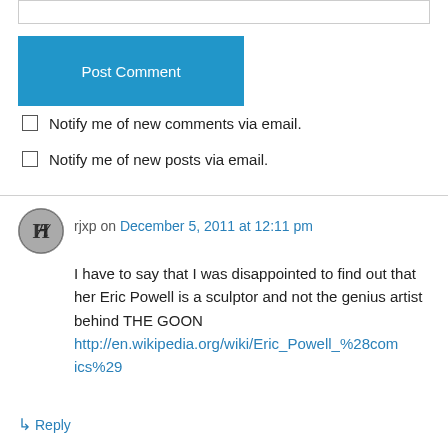[Figure (other): Text input field (empty)]
Post Comment
Notify me of new comments via email.
Notify me of new posts via email.
rjxp on December 5, 2011 at 12:11 pm
I have to say that I was disappointed to find out that her Eric Powell is a sculptor and not the genius artist behind THE GOON http://en.wikipedia.org/wiki/Eric_Powell_%28comics%29
↳ Reply